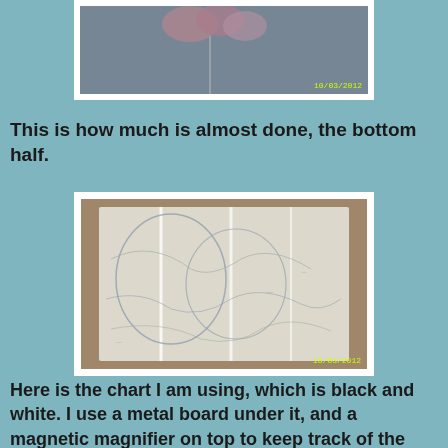[Figure (photo): Top portion of a photo showing a grey fabric/textile with pink flower decorations, timestamp 10/03/2012]
This is how much is almost done, the bottom half.
[Figure (photo): Photo of a white/light fabric laid flat on a wooden surface showing drawn/traced pattern lines, timestamp 10/03/2012]
Here is the chart I am using, which is black and white. I use a metal board under it, and a magnetic magnifier on top to keep track of the